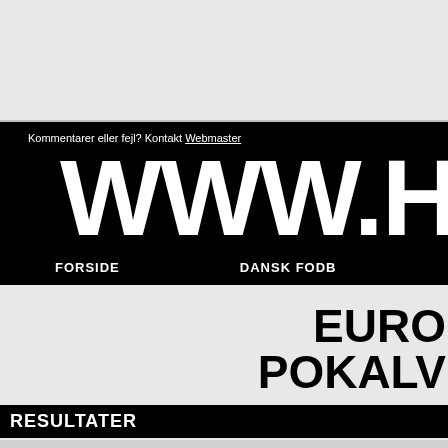Kommentarer eller fejl? Kontakt Webmaster
WWW.HA
FORSIDE
DANSK FODB
EURO POKALV
RESULTATER